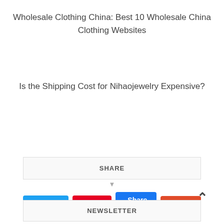Wholesale Clothing China: Best 10 Wholesale China Clothing Websites
Is the Shipping Cost for Nihaojewelry Expensive?
SHARE
Tweet | Save | Share 0 | Share
NEWSLETTER